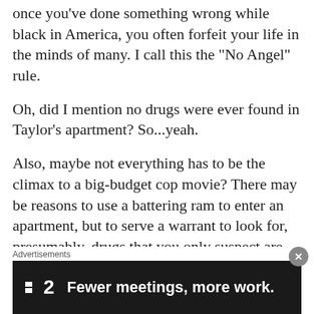once you've done something wrong while black in America, you often forfeit your life in the minds of many. I call this the “No Angel” rule.
Oh, did I mention no drugs were ever found in Taylor’s apartment? So...yeah.
Also, maybe not everything has to be the climax to a big-budget cop movie? There may be reasons to use a battering ram to enter an apartment, but to serve a warrant to look for, presumably, drugs that you only suspect are inside in order to build a case against a drug dealer who doesn’t live there seems like a situation where a kind knock at
Advertisements
[Figure (screenshot): Advertisement banner for Flat 2 (F2) with dark background: logo showing a small icon and '2', tagline 'Fewer meetings, more work.' in white bold text on dark background.]